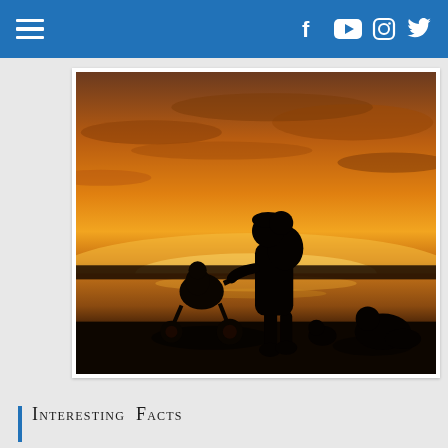Navigation bar with hamburger menu and social icons: Facebook, YouTube, Instagram, Twitter
[Figure (photo): Silhouette of a person carrying a child on their back and pushing a stroller, photographed against a dramatic orange and golden sunset sky over a body of water. Other silhouetted figures are visible in the background on the right.]
Interesting Facts